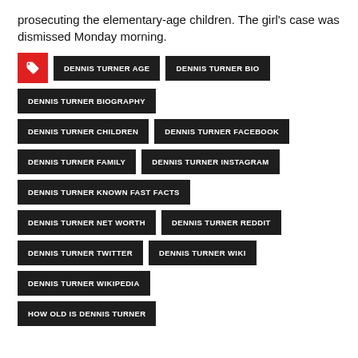prosecuting the elementary-age children. The girl's case was dismissed Monday morning.
DENNIS TURNER AGE
DENNIS TURNER BIO
DENNIS TURNER BIOGRAPHY
DENNIS TURNER CHILDREN
DENNIS TURNER FACEBOOK
DENNIS TURNER FAMILY
DENNIS TURNER INSTAGRAM
DENNIS TURNER KNOWN FAST FACTS
DENNIS TURNER NET WORTH
DENNIS TURNER REDDIT
DENNIS TURNER TWITTER
DENNIS TURNER WIKI
DENNIS TURNER WIKIPEDIA
HOW OLD IS DENNIS TURNER